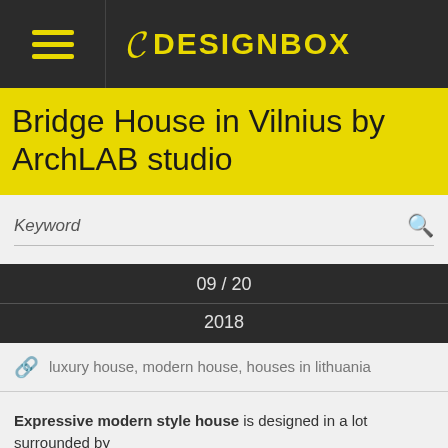8 DESIGNBOX
Bridge House in Vilnius by ArchLAB studio
Keyword
09 / 20
2018
luxury house, modern house, houses in lithuania
Expressive modern style house is designed in a lot surrounded by stone. Rise from stone on every side of the lot. It uses direct solar gain...